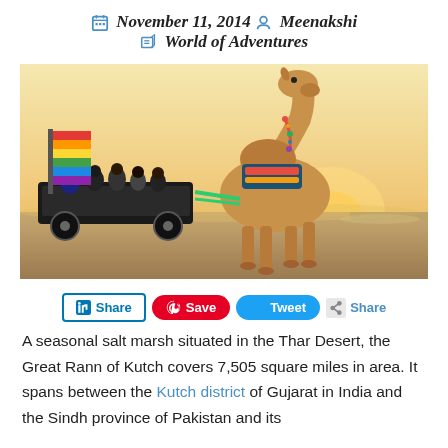November 11, 2014  Meenakshi  World of Adventures
[Figure (photo): A decorated camel pulling a cart with passengers at sunset in the Rann of Kutch, with a colorful rainbow flag visible on the left.]
Share  Save  Tweet  Share
A seasonal salt marsh situated in the Thar Desert, the Great Rann of Kutch covers 7,505 square miles in area. It spans between the Kutch district of Gujarat in India and the Sindh province of Pakistan and its